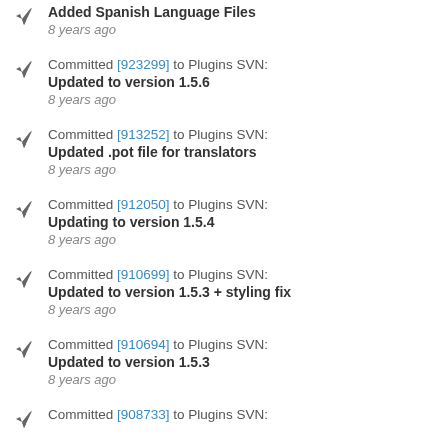Added Spanish Language Files
8 years ago
Committed [923299] to Plugins SVN: Updated to version 1.5.6
8 years ago
Committed [913252] to Plugins SVN: Updated .pot file for translators
8 years ago
Committed [912050] to Plugins SVN: Updating to version 1.5.4
8 years ago
Committed [910699] to Plugins SVN: Updated to version 1.5.3 + styling fix
8 years ago
Committed [910694] to Plugins SVN: Updated to version 1.5.3
8 years ago
Committed [908733] to Plugins SVN: